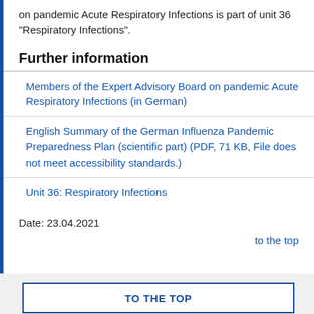on pandemic Acute Respiratory Infections is part of unit 36 “Respiratory Infections”.
Further information
Members of the Expert Advisory Board on pandemic Acute Respiratory Infections (in German)
English Summary of the German Influenza Pandemic Preparedness Plan (scientific part) (PDF, 71 KB, File does not meet accessibility standards.)
Unit 36: Respiratory Infections
Date: 23.04.2021
to the top
TO THE TOP